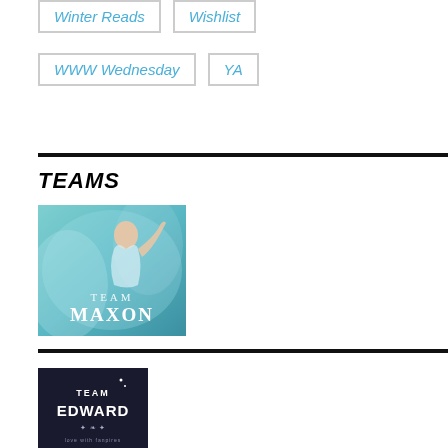Winter Reads
Wishlist
WWW Wednesday
YA
TEAMS
[Figure (photo): Team Maxon promotional image with a woman in a blue flowing dress and text reading TEAM MAXON]
[Figure (photo): Team Edward promotional image with dark background and text reading TEAM EDWARD with decorative elements]